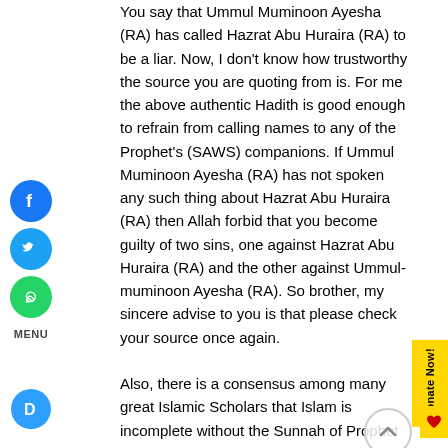You say that Ummul Muminoon Ayesha (RA) has called Hazrat Abu Huraira (RA) to be a liar. Now, I don't know how trustworthy the source you are quoting from is. For me the above authentic Hadith is good enough to refrain from calling names to any of the Prophet's (SAWS) companions. If Ummul Muminoon Ayesha (RA) has not spoken any such thing about Hazrat Abu Huraira (RA) then Allah forbid that you become guilty of two sins, one against Hazrat Abu Huraira (RA) and the other against Ummul-muminoon Ayesha (RA). So brother, my sincere advise to you is that please check your source once again.
Also, there is a consensus among many great Islamic Scholars that Islam is incomplete without the Sunnah of Prophet